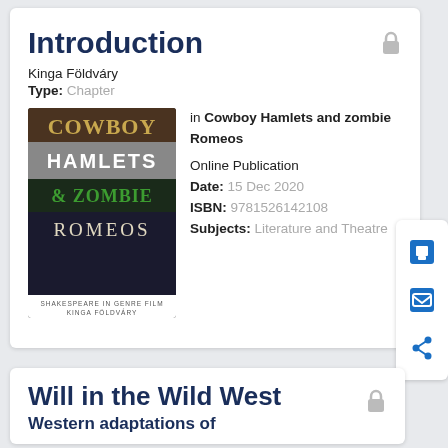Introduction
Kinga Földváry
Type: Chapter
[Figure (photo): Book cover of 'Cowboy Hamlets & Zombie Romeos: Shakespeare in Genre Film' by Kinga Földváry]
in Cowboy Hamlets and zombie Romeos
Online Publication Date: 15 Dec 2020
ISBN: 9781526142108
Subjects: Literature and Theatre
Will in the Wild West
Western adaptations of